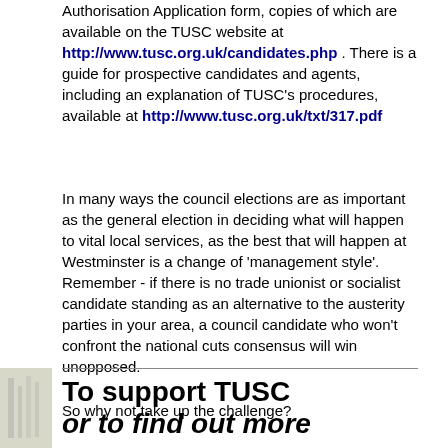Authorisation Application form, copies of which are available on the TUSC website at http://www.tusc.org.uk/candidates.php . There is a guide for prospective candidates and agents, including an explanation of TUSC's procedures, available at http://www.tusc.org.uk/txt/317.pdf
In many ways the council elections are as important as the general election in deciding what will happen to vital local services, as the best that will happen at Westminster is a change of 'management style'. Remember - if there is no trade unionist or socialist candidate standing as an alternative to the austerity parties in your area, a council candidate who won't confront the national cuts consensus will win unopposed.
So why not take up the challenge?
To support TUSC or to find out more